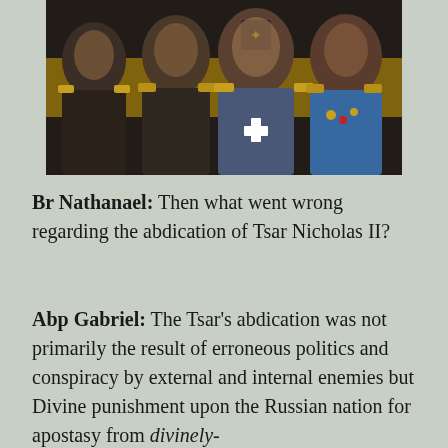[Figure (illustration): Painting of Russian Tsars in military uniforms with medals and decorations, set against a black and yellow Imperial Russian flag background. Four figures visible in ornate military dress.]
Br Nathanael: Then what went wrong regarding the abdication of Tsar Nicholas II?
Abp Gabriel: The Tsar's abdication was not primarily the result of erroneous politics and conspiracy by external and internal enemies but Divine punishment upon the Russian nation for apostasy from divinely-